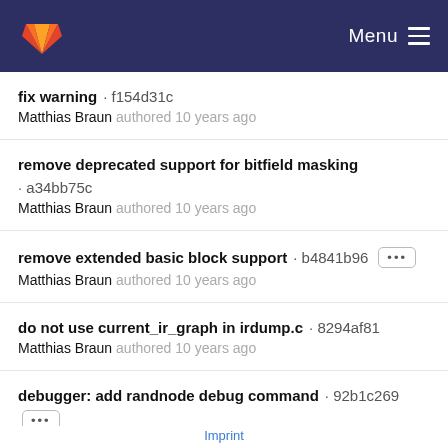GitLab — Menu
fix warning · f154d31c
Matthias Braun authored 10 years ago
remove deprecated support for bitfield masking · a34bb75c
Matthias Braun authored 10 years ago
remove extended basic block support · b4841b96
Matthias Braun authored 10 years ago
do not use current_ir_graph in irdump.c · 8294af81
Matthias Braun authored 10 years ago
debugger: add randnode debug command · 92b1c269
Matthias Braun authored 10 years ago
fix debugger tokenlist · b01ef44b
Matthias Braun authored 10 years ago
Imprint